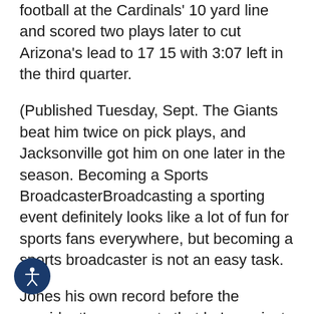football at the Cardinals' 10 yard line and scored two plays later to cut Arizona's lead to 17 15 with 3:07 left in the third quarter.
(Published Tuesday, Sept. The Giants beat him twice on pick plays, and Jacksonville got him on one later in the season. Becoming a Sports BroadcasterBroadcasting a sporting event definitely looks like a lot of fun for sports fans everywhere, but becoming a sports broadcaster is not an easy task.
Jones his own record before the president's comments that he's against the anthem protests. And you're probably seeing the art of that when it comes to sports media rights. New England failed twice in the first